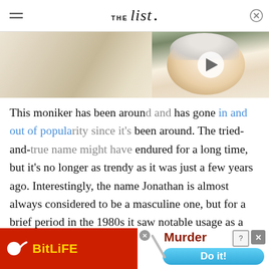THE list
[Figure (photo): Left side shows a blurred close-up food/knitting image. Right side shows an elderly woman (Queen Elizabeth II) smiling, with a video play button overlay.]
This moniker has been around and has gone in and out of popularity since it's been around. The tried-and-true name might have endured for a long time, but it's no longer as trendy as it was just a few years ago. Interestingly, the name Jonathan is almost always considered to be a masculine one, but for a brief period in the 1980s it saw notable usage as a feminine name.
[Figure (screenshot): Advertisement banner: Left half is red with BitLife logo (sperm icon + yellow bold text 'BitLife'). Right half shows 'Murder' in dark red text with a blue 'Do it!' button and close/mute icons.]